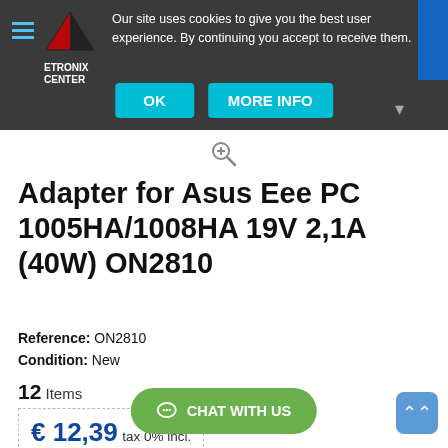Our site uses cookies to give you the best user experience. By continuing you accept to receive them.
[Figure (logo): Etronix Center logo with red/dark triangle graphic and white bold text ETRONIX CENTER]
OK
MORE INFO
Adapter for Asus Eee PC 1005HA/1008HA 19V 2,1A (40W) ON2810
Reference: ON2810
Condition: New
12 Items
€ 12,39 tax 0% incl.
CHAT WITH US